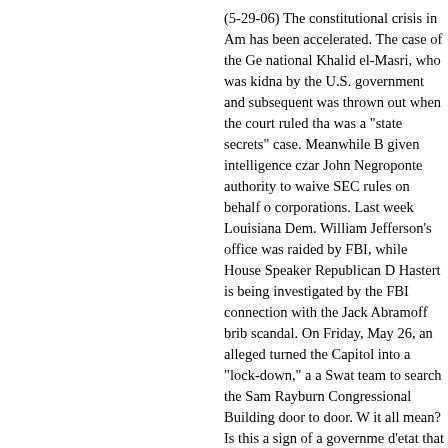(5-29-06) The constitutional crisis in America has been accelerated. The case of the German national Khalid el-Masri, who was kidnapped by the U.S. government and subsequently sued, was thrown out when the court ruled that it was a "state secrets" case. Meanwhile Bush has given intelligence czar John Negroponte the authority to waive SEC rules on behalf of corporations. Last week Louisiana Dem. Rep. William Jefferson's office was raided by the FBI, while House Speaker Republican Dennis Hastert is being investigated by the FBI in connection with the Jack Abramoff bribery scandal. On Friday, May 26, an alleged bomb turned the Capitol into a "lock-down," and sent a Swat team to search the Sam Rayburn Congressional Building door to door. What does it all mean? Is this a sign of a government coup d'etat that has moved from slow motion into fast mode?
Conspiracies of State: Government Business As Usual
(5-22-06) The hearings for Gen. Michael